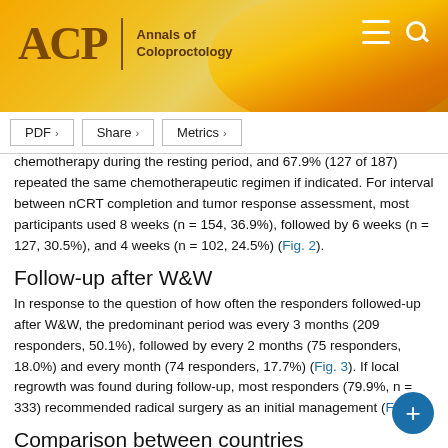ACP Annals of Coloproctology
chemotherapy during the resting period, and 67.9% (127 of 187) repeated the same chemotherapeutic regimen if indicated. For interval between nCRT completion and tumor response assessment, most participants used 8 weeks (n = 154, 36.9%), followed by 6 weeks (n = 127, 30.5%), and 4 weeks (n = 102, 24.5%) (Fig. 2).
Follow-up after W&W
In response to the question of how often the responders followed-up after W&W, the predominant period was every 3 months (209 responders, 50.1%), followed by every 2 months (75 responders, 18.0%) and every month (74 responders, 17.7%) (Fig. 3). If local regrowth was found during follow-up, most responders (79.9%, n = 333) recommended radical surgery as an initial management (Fig. 3).
Comparison between countries
Current adoption of the W&W approach between countries is compared in Table 2. Age, affiliation, acceptance of W&W, experience in clinical practice, informed consent in the case of cCR, reasons for